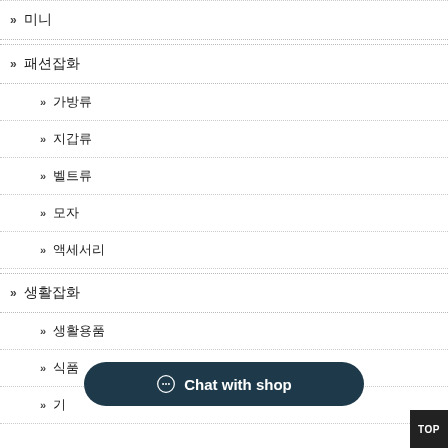» 미니
» 패션잡화
» 가방류
» 지갑류
» 벨트류
» 모자
» 액세서리
» 생활잡화
» 생활용품
» 식품
» 기